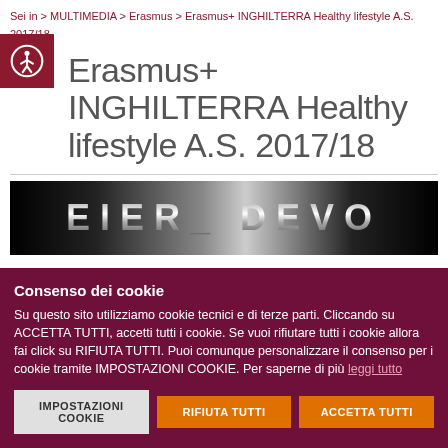Sei in > MULTIMEDIA > Erasmus > Erasmus+ INGHILTERRA Healthy lifestyle A.S. 2017/18
Erasmus+ INGHILTERRA Healthy lifestyle A.S. 2017/18
[Figure (photo): Dark banner image with blurred/stylized text letters visible against a black background, partially showing letters resembling 'EIER_ DEVO']
Consenso dei cookie
Su questo sito utilizziamo cookie tecnici e di terze parti. Cliccando su ACCETTA TUTTI, accetti tutti i cookie. Se vuoi rifiutare tutti i cookie allora fai click su RIFIUTA TUTTI. Puoi comunque personalizzare il consenso per i cookie tramite IMPOSTAZIONI COOKIE. Per saperne di più leggi tutto
IMPOSTAZIONI COOKIE
RIFIUTA TUTTI
ACCETTA TUTTI